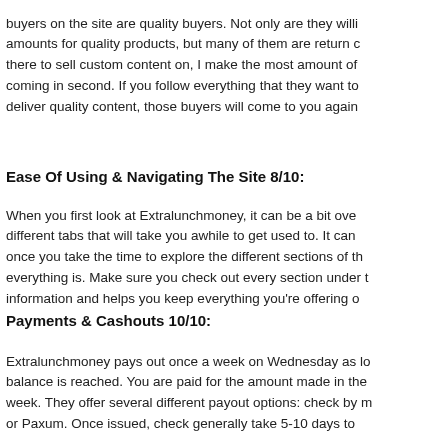buyers on the site are quality buyers. Not only are they willing to pay good amounts for quality products, but many of them are return customers. Of all the sites there to sell custom content on, I make the most amount of money on this one, with it coming in second. If you follow everything that they want to do and you deliver quality content, those buyers will come to you again and again.
Ease Of Using & Navigating The Site 8/10:
When you first look at Extralunchmoney, it can be a bit overwhelming due to the different tabs that will take you awhile to get used to. It can be confusing at first, but once you take the time to explore the different sections of the site, you'll see where everything is. Make sure you check out every section under the profile tab, as it houses information and helps you keep everything you're offering organized.
Payments & Cashouts 10/10:
Extralunchmoney pays out once a week on Wednesday as long as the minimum balance is reached. You are paid for the amount made in the previous calendar week. They offer several different payout options: check by mail, direct deposit, PayPal, or Paxum. Once issued, check generally take 5-10 days to